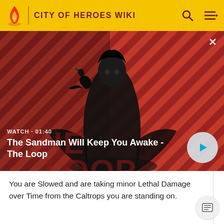CITY OF HEROES WIKI
[Figure (screenshot): Video thumbnail showing a dark-clad figure with a black bird on their shoulder against a red and black diagonal striped background. Overlay text reads 'WATCH · 01:40' and 'The Sandman Will Keep You Awake - The Loop' with a play button.]
You are Slowed and are taking minor Lethal Damage over Time from the Caltrops you are standing on.